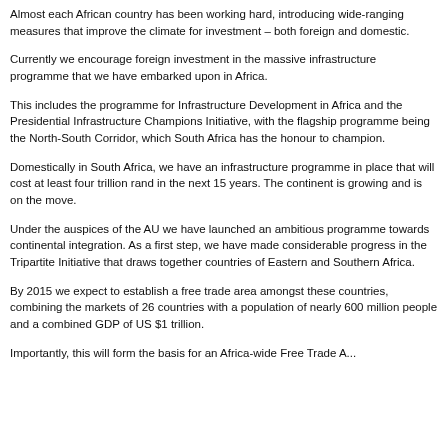Almost each African country has been working hard, introducing wide-ranging measures that improve the climate for investment – both foreign and domestic.
Currently we encourage foreign investment in the massive infrastructure programme that we have embarked upon in Africa.
This includes the programme for Infrastructure Development in Africa and the Presidential Infrastructure Champions Initiative, with the flagship programme being the North-South Corridor, which South Africa has the honour to champion.
Domestically in South Africa, we have an infrastructure programme in place that will cost at least four trillion rand in the next 15 years. The continent is growing and is on the move.
Under the auspices of the AU we have launched an ambitious programme towards continental integration. As a first step, we have made considerable progress in the Tripartite Initiative that draws together countries of Eastern and Southern Africa.
By 2015 we expect to establish a free trade area amongst these countries, combining the markets of 26 countries with a population of nearly 600 million people and a combined GDP of US $1 trillion.
Importantly, this will form the basis for an Africa-wide Free Trade Area...